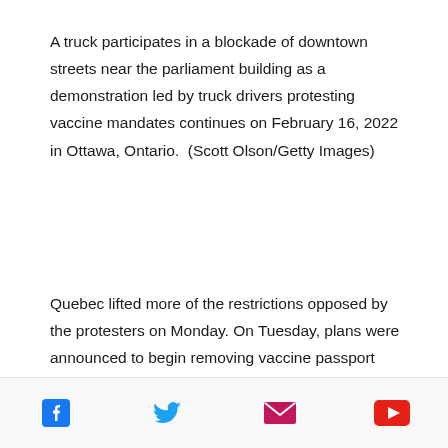A truck participates in a blockade of downtown streets near the parliament building as a demonstration led by truck drivers protesting vaccine mandates continues on February 16, 2022 in Ottawa, Ontario.  (Scott Olson/Getty Images)
Quebec lifted more of the restrictions opposed by the protesters on Monday. On Tuesday, plans were announced to begin removing vaccine passport requirements in stages, with the process completed by March 14.